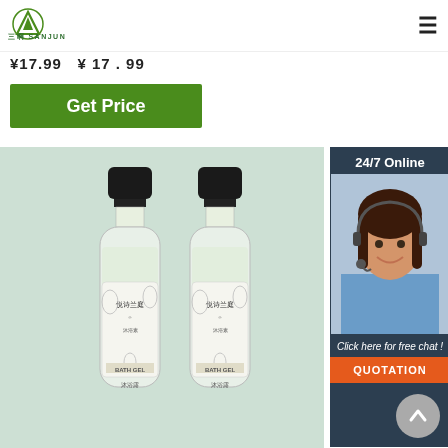[Figure (logo): Sanjun brand logo with green triangle/mountain icon and text SANJUN below]
¥17.99 ¥ 17 . 99
Get Price
[Figure (photo): Two transparent bottles of bath gel (沐浴露) with floral label design, labeled BATH GEL, brand 悦诗兰庭, displayed on light green/mint background]
24/7 Online
[Figure (photo): Customer service agent woman smiling with headset]
Click here for free chat !
QUOTATION